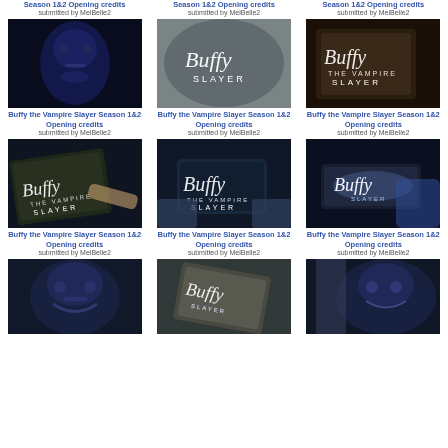Buffy the Vampire Slayer Season 1&2 Opening credits
submitted by MelBelle2
Buffy the Vampire Slayer Season 1&2 Opening credits
submitted by MelBelle2
Buffy the Vampire Slayer Season 1&2 Opening credits
submitted by MelBelle2
[Figure (screenshot): Dark blue-tinted face close-up]
Buffy the Vampire Slayer Season 1&2 Opening credits
submitted by MelBelle2
[Figure (screenshot): Buffy Slayer title card on smoky background]
Buffy the Vampire Slayer Season 1&2 Opening credits
submitted by MelBelle2
[Figure (screenshot): Buffy the Vampire Slayer book close-up]
Buffy the Vampire Slayer Season 1&2 Opening credits
submitted by MelBelle2
[Figure (screenshot): Buffy the Vampire Slayer book held in hands]
Buffy the Vampire Slayer Season 1&2 Opening credits
submitted by MelBelle2
[Figure (screenshot): Buffy Slayer title on tablet/screen held in hands]
Buffy the Vampire Slayer Season 1&2 Opening credits
submitted by MelBelle2
[Figure (screenshot): Buffy title glowing on reflective surface]
Buffy the Vampire Slayer Season 1&2 Opening credits
submitted by MelBelle2
[Figure (screenshot): Blue-tinted face close-up (bottom row)]
[Figure (screenshot): Book with glowing Buffy text (bottom row)]
[Figure (screenshot): Creature/vampire face in blue (bottom row)]